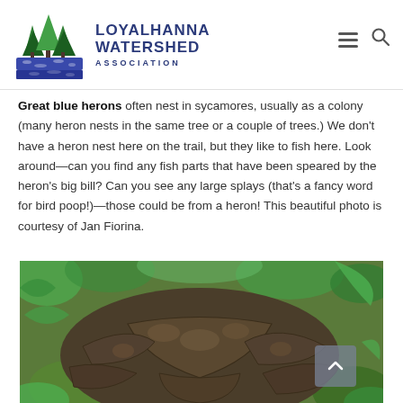Loyalhanna Watershed Association
Great blue herons often nest in sycamores, usually as a colony (many heron nests in the same tree or a couple of trees.) We don't have a heron nest here on the trail, but they like to fish here. Look around—can you find any fish parts that have been speared by the heron's big bill? Can you see any large splays (that's a fancy word for bird poop!)—those could be from a heron! This beautiful photo is courtesy of Jan Fiorina.
[Figure (photo): Close-up photo of a turtle shell with green foliage in the background. The shell appears dark brown and textured with a scute pattern visible. Photo credited to Jan Fiorina.]